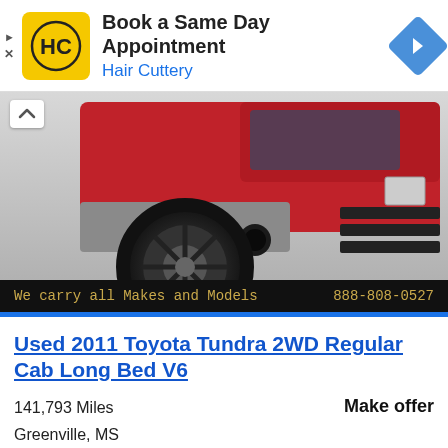[Figure (other): Hair Cuttery advertisement banner with HC logo, headline 'Book a Same Day Appointment', subheading 'Hair Cuttery', and blue navigation arrow icon]
[Figure (photo): Photo of a red Toyota Tundra pickup truck showing the rear/side view with black off-road wheels, gray bumper, and 'We carry all Makes and Models' black banner with phone number 888-808-0527]
Used 2011 Toyota Tundra 2WD Regular Cab Long Bed V6
141,793 Miles
Greenville, MS
Make offer